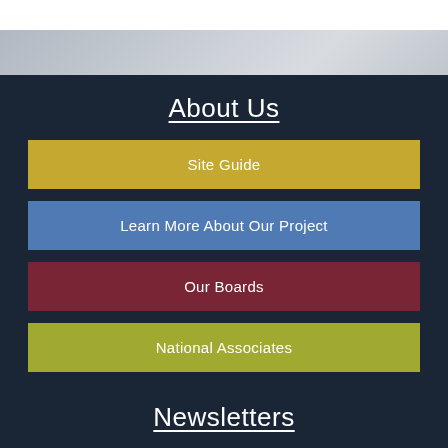[Figure (map): Partial map/aerial view background strip in light gray]
About Us
Site Guide
Learn More About Our Project
Our Boards
National Associates
Newsletters
Read the Fireside